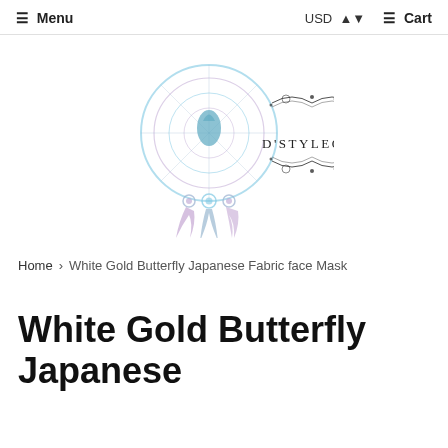☰ Menu   USD ▲▼   ☰ Cart
[Figure (logo): D'Styleo Handmade shop logo featuring a dreamcatcher with feathers on the left and decorative text 'D'Styleo Handmade' with ornamental flourishes on the right]
Home > White Gold Butterfly Japanese Fabric face Mask
White Gold Butterfly Japanese